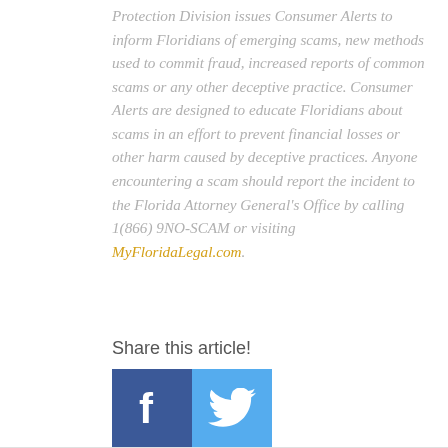Protection Division issues Consumer Alerts to inform Floridians of emerging scams, new methods used to commit fraud, increased reports of common scams or any other deceptive practice. Consumer Alerts are designed to educate Floridians about scams in an effort to prevent financial losses or other harm caused by deceptive practices. Anyone encountering a scam should report the incident to the Florida Attorney General's Office by calling 1(866) 9NO-SCAM or visiting MyFloridaLegal.com.
Share this article!
[Figure (illustration): Facebook and Twitter social sharing icons]